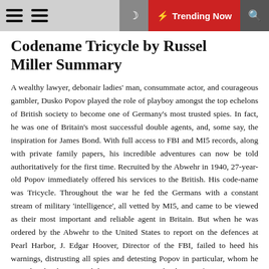Codename Tricycle by Russel Miller Summary — Trending Now
Codename Tricycle by Russel Miller Summary
A wealthy lawyer, debonair ladies' man, consummate actor, and courageous gambler, Dusko Popov played the role of playboy amongst the top echelons of British society to become one of Germany's most trusted spies. In fact, he was one of Britain's most successful double agents, and, some say, the inspiration for James Bond. With full access to FBI and MI5 records, along with private family papers, his incredible adventures can now be told authoritatively for the first time. Recruited by the Abwehr in 1940, 27-year-old Popov immediately offered his services to the British. His code-name was Tricycle. Throughout the war he fed the Germans with a constant stream of military 'intelligence', all vetted by MI5, and came to be viewed as their most important and reliable agent in Britain. But when he was ordered by the Abwehr to the United States to report on the defences at Pearl Harbor, J. Edgar Hoover, Director of the FBI, failed to heed his warnings, distrusting all spies and detesting Popov in particular, whom he considered to be 'a moral degenerate'. Facing the danger of exposure, arrest and